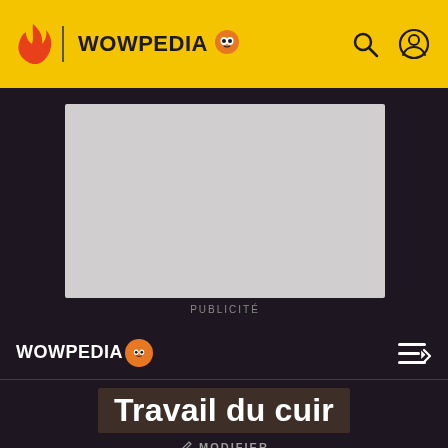WOWPEDIA
[Figure (screenshot): Gray advertisement placeholder box]
PUBLICITÉ
WOWPEDIA
Travail du cuir
MODIFIER